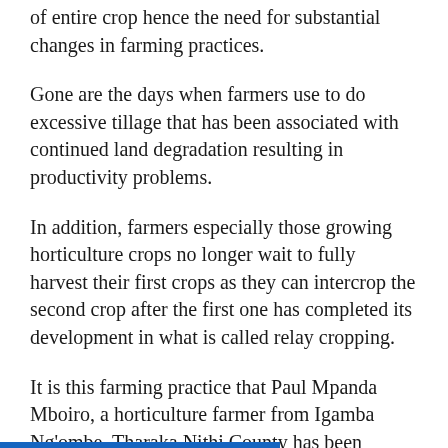of entire crop hence the need for substantial changes in farming practices.
Gone are the days when farmers use to do excessive tillage that has been associated with continued land degradation resulting in productivity problems.
In addition, farmers especially those growing horticulture crops no longer wait to fully harvest their first crops as they can intercrop the second crop after the first one has completed its development in what is called relay cropping.
It is this farming practice that Paul Mpanda Mboiro, a horticulture farmer from Igamba Ng'ombe, Tharaka Nithi County has been involved in since 2018 September when he started commercial production of tomatoes, watermelons, kales and sweet potatoes